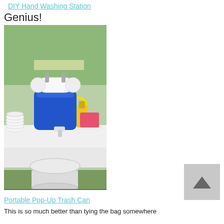DIY Hand Washing Station
Genius!
[Figure (photo): Outdoor DIY hand washing station made with a blue water jug with a spigot, paper towel roll, dish soap bottle, and a white bucket on the grass beneath a folding table covered with a white tablecloth.]
Portable Pop-Up Trash Can
This is so much better than tying the bag somewhere